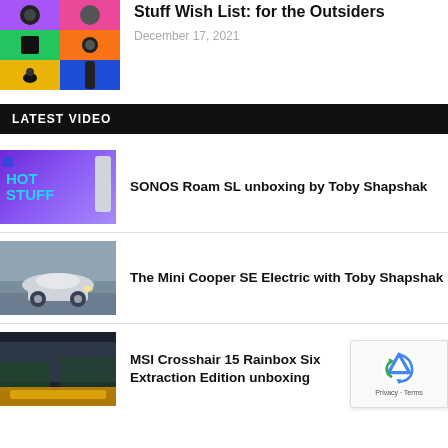[Figure (photo): Thumbnail grid of tech gadgets with colorful background cells]
Stuff Wish List: for the Outsiders
December 17, 2021
LATEST VIDEO
[Figure (photo): HOT STUFF branded thumbnail with purple gradient background and a speaker device]
SONOS Roam SL unboxing by Toby Shapshak
[Figure (photo): Mini Cooper SE Electric car driving on a blurred road background]
The Mini Cooper SE Electric with Toby Shapshak
[Figure (photo): MSI Crosshair 15 Rainbox Six Extraction Edition laptop with dark/yellow theme]
MSI Crosshair 15 Rainbox Six Extraction Edition unboxing